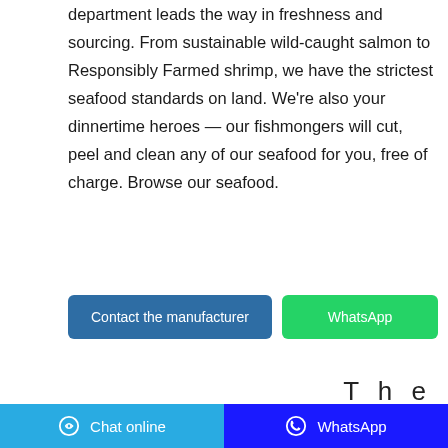department leads the way in freshness and sourcing. From sustainable wild-caught salmon to Responsibly Farmed shrimp, we have the strictest seafood standards on land. We're also your dinnertime heroes — our fishmongers will cut, peel and clean any of our seafood for you, free of charge. Browse our seafood.
Contact the manufacturer | WhatsApp
The
[Figure (photo): Mamaloves Baby Diapers product package, grey box with baby image, 18 count, Super Absorption Gentle Care]
Chat online | WhatsApp